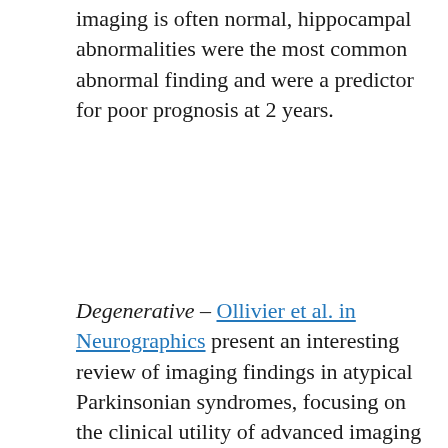imaging is often normal, hippocampal abnormalities were the most common abnormal finding and were a predictor for poor prognosis at 2 years.
Degenerative – Ollivier et al. in Neurographics present an interesting review of imaging findings in atypical Parkinsonian syndromes, focusing on the clinical utility of advanced imaging techniques in this group of patients as well as summarising the structural MRI findings. They highlight the high rate of misdiagnosis due to overlapping clinical findings in these diseases, and knowledge of the relevant advanced imaging techniques is therefore likely to be crucial in investigation of